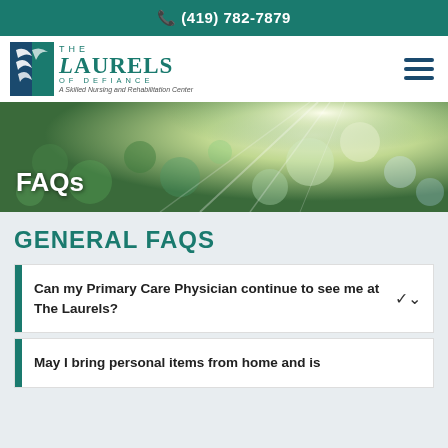📞 (419) 782-7879
[Figure (logo): The Laurels of Defiance logo — teal laurel leaf icon with text 'THE LAURELS OF DEFIANCE, A Skilled Nursing and Rehabilitation Center']
[Figure (photo): Hero banner with blurred green bokeh and sunlight background with white text 'FAQs']
FAQs
GENERAL FAQS
Can my Primary Care Physician continue to see me at The Laurels?
May I bring personal items from home and is